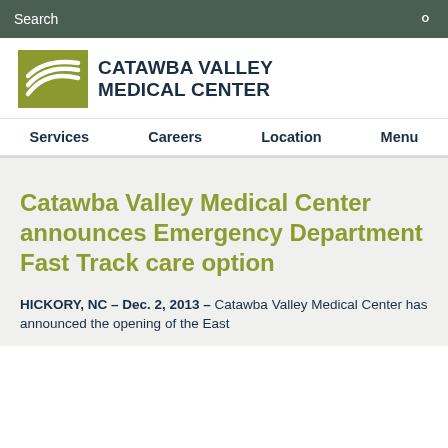Search
[Figure (logo): Catawba Valley Medical Center logo with olive/green wave graphic and bold dark blue text reading CATAWBA VALLEY MEDICAL CENTER]
Services   Careers   Location   Menu
Catawba Valley Medical Center announces Emergency Department Fast Track care option
HICKORY, NC – Dec. 2, 2013 – Catawba Valley Medical Center has announced the opening of the East